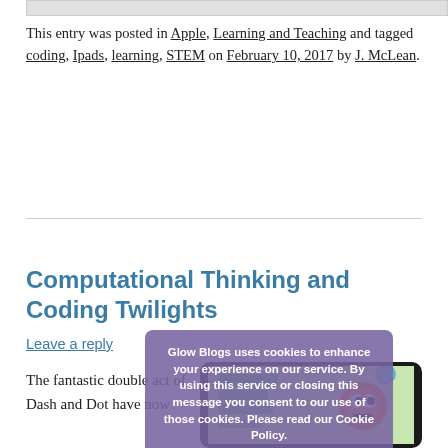[Figure (screenshot): Partial screenshot of a table or chart at the top of the page]
This entry was posted in Apple, Learning and Teaching and tagged coding, Ipads, learning, STEM on February 10, 2017 by J. McLean.
Computational Thinking and Coding Twilights
Leave a reply
The fantastic double act of Dash and Dot have now
[Figure (screenshot): iPad showing a coding app interface with a robot character]
[Figure (screenshot): Cookie consent overlay: Glow Blogs uses cookies to enhance your experience on our service. By using this service or closing this message you consent to our use of those cookies. Please read our Cookie Policy. OK button.]